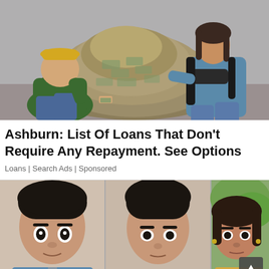[Figure (photo): Two people posing with a large pile of paper money/cash. A man in a green jacket and yellow cap on the left, a woman in a blue sweater on the right.]
Ashburn: List Of Loans That Don't Require Any Repayment. See Options
Loans | Search Ads | Sponsored
[Figure (photo): Three photos of young women with surprised or neutral expressions arranged side by side.]